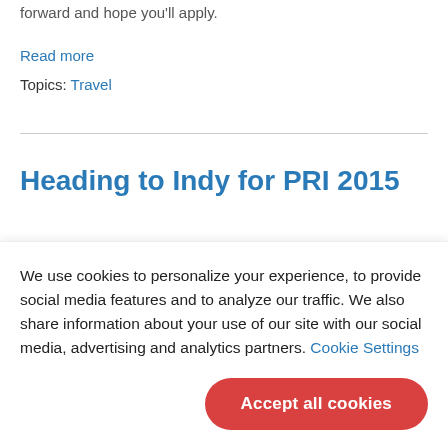forward and hope you'll apply.
Read more
Topics: Travel
Heading to Indy for PRI 2015
We use cookies to personalize your experience, to provide social media features and to analyze our traffic. We also share information about your use of our site with our social media, advertising and analytics partners. Cookie Settings
Accept all cookies